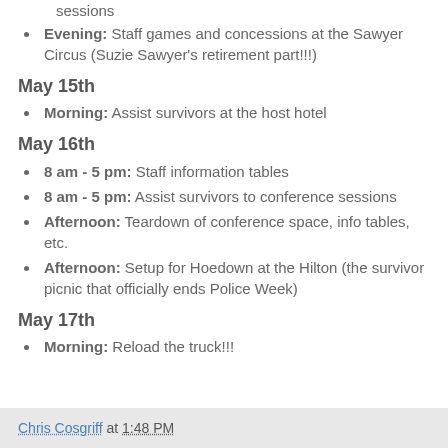sessions
Evening: Staff games and concessions at the Sawyer Circus (Suzie Sawyer's retirement part!!!)
May 15th
Morning: Assist survivors at the host hotel
May 16th
8 am - 5 pm: Staff information tables
8 am - 5 pm: Assist survivors to conference sessions
Afternoon: Teardown of conference space, info tables, etc.
Afternoon: Setup for Hoedown at the Hilton (the survivor picnic that officially ends Police Week)
May 17th
Morning: Reload the truck!!!
Chris Cosgriff at 1:48 PM